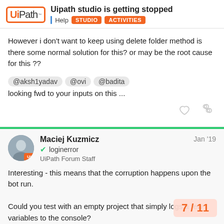Uipath studio is getting stopped | Help | STUDIO | ACTIVITIES
However i don't want to keep using delete folder method is there some normal solution for this? or may be the root cause for this ??
@aksh1yadav @ovi @badita looking fwd to your inputs on this ...
Maciej Kuzmicz  Jan '19
loginerror
UiPath Forum Staff
Interesting - this means that the corruption happens upon the bot run.

Could you test with an empty project that simply logs a few variables to the console?
It would be nice to see if the files get co
run or only after this particular workflow r